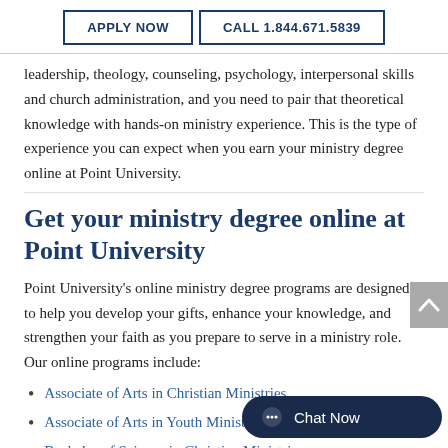APPLY NOW | CALL 1.844.671.5839
leadership, theology, counseling, psychology, interpersonal skills and church administration, and you need to pair that theoretical knowledge with hands-on ministry experience. This is the type of experience you can expect when you earn your ministry degree online at Point University.
Get your ministry degree online at Point University
Point University's online ministry degree programs are designed to help you develop your gifts, enhance your knowledge, and strengthen your faith as you prepare to serve in a ministry role. Our online programs include:
Associate of Arts in Christian Ministries
Associate of Arts in Youth Ministry
Bachelor of Science in Christian Ministries
Bachelor of Science in Youth & Family Ministry
Master of Transformative Ministry